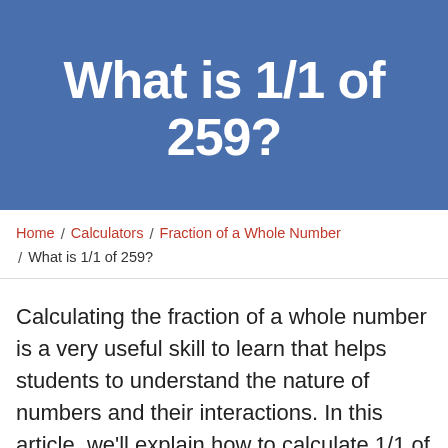What is 1/1 of 259?
Home / Calculators / Fraction of a Whole Number / What is 1/1 of 259?
Calculating the fraction of a whole number is a very useful skill to learn that helps students to understand the nature of numbers and their interactions. In this article, we'll explain how to calculate 1/1 of 259 with step-by-step-examples.
MY LATEST VIDEOS